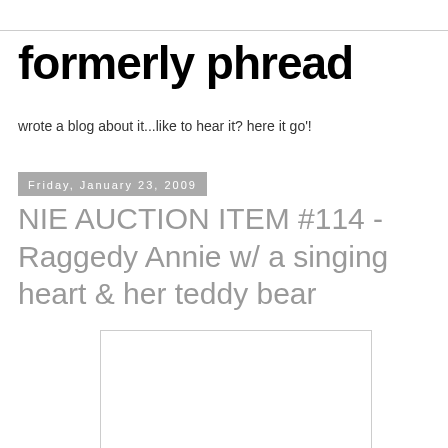formerly phread
wrote a blog about it...like to hear it? here it go'!
Friday, January 23, 2009
NIE AUCTION ITEM #114 - Raggedy Annie w/ a singing heart & her teddy bear
[Figure (other): White rectangular image placeholder with light gray border]